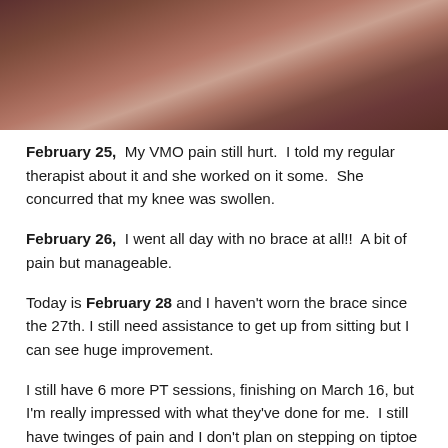[Figure (photo): Close-up photo of a knee or leg, showing reddish-brown skin tones, partially cropped at top of page]
February 25,  My VMO pain still hurt.  I told my regular therapist about it and she worked on it some.  She concurred that my knee was swollen.
February 26,  I went all day with no brace at all!!  A bit of pain but manageable.
Today is February 28 and I haven't worn the brace since the 27th. I still need assistance to get up from sitting but I can see huge improvement.
I still have 6 more PT sessions, finishing on March 16, but I'm really impressed with what they've done for me.  I still have twinges of pain and I don't plan on stepping on tiptoe